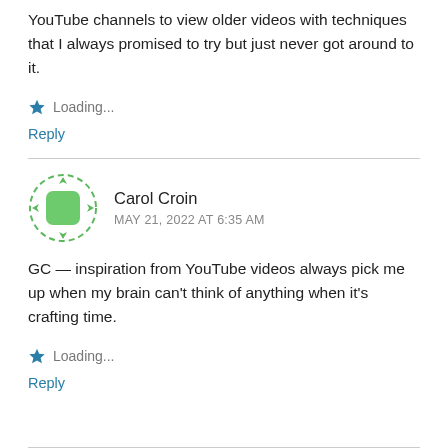YouTube channels to view older videos with techniques that I always promised to try but just never got around to it.
★ Loading...
Reply
Carol Croin
MAY 21, 2022 AT 6:35 AM
GC — inspiration from YouTube videos always pick me up when my brain can't think of anything when it's crafting time.
★ Loading...
Reply